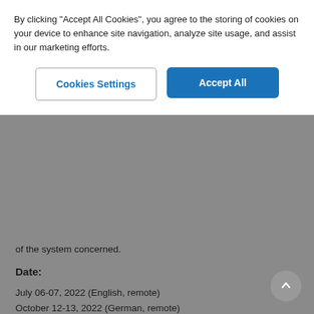By clicking "Accept All Cookies", you agree to the storing of cookies on your device to enhance site navigation, analyze site usage, and assist in our marketing efforts.
Cookies Settings | Accept All
of the system concerned.
Date:
July 06-07, 2022 (English, remote)
October 12-13, 2022 (German, remote)
December 07-08, 2022 (English, remote)
Location:
Germany - Karlsruhe